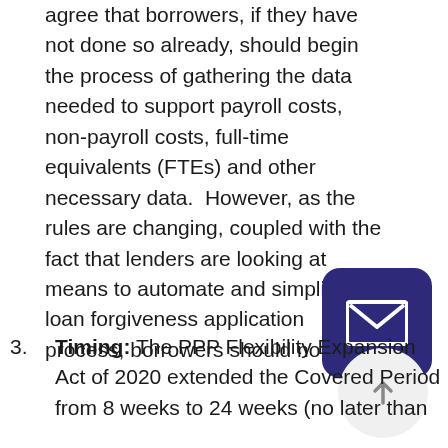agree that borrowers, if they have not done so already, should begin the process of gathering the data needed to support payroll costs, non-payroll costs, full-time equivalents (FTEs) and other necessary data.  However, as the rules are changing, coupled with the fact that lenders are looking at means to automate and simplify the loan forgiveness application process, borrowers should not rush.
3. Timing: The PPP Flexibility Expansion Act of 2020 extended the Covered Period from 8 weeks to 24 weeks (no later than